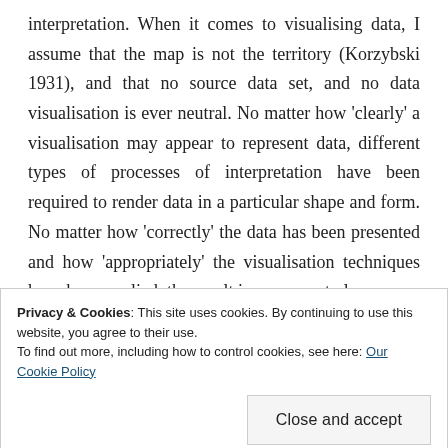interpretation. When it comes to visualising data, I assume that the map is not the territory (Korzybski 1931), and that no source data set, and no data visualisation is ever neutral. No matter how 'clearly' a visualisation may appear to represent data, different types of processes of interpretation have been required to render data in a particular shape and form. No matter how 'correctly' the data has been presented and how 'appropriately' the visualisation techniques have been applied, the result is never neutral nor
Privacy & Cookies: This site uses cookies. By continuing to use this website, you agree to their use. To find out more, including how to control cookies, see here: Our Cookie Policy
sometimes share some bits of work in progress